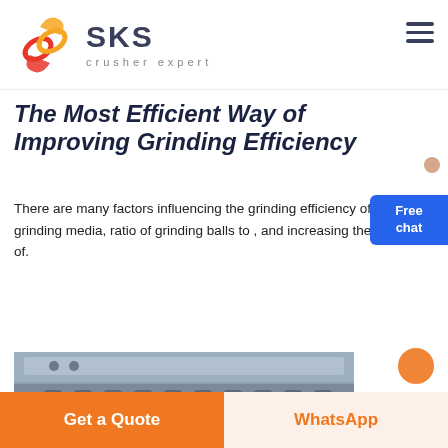[Figure (logo): SKS Crusher Expert logo with red swirl emblem and dark blue SKS text, subtitle 'crusher expert']
The Most Efficient Way of Improving Grinding Efficiency
There are many factors influencing the grinding efficiency of ba of grinding media, ratio of grinding balls to , and increasing the benefits of.
[Figure (infographic): Free chat button — blue rounded rectangle with 'Free chat' text and person illustration]
[Figure (other): LIVE CHAT orange pill-shaped button]
[Figure (photo): Partial photo of industrial grinding/crushing equipment — grey metal machinery]
Get a Quote | WhatsApp